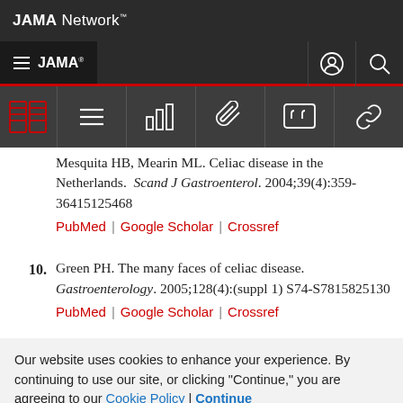JAMA Network
Mesquita HB, Mearin ML. Celiac disease in the Netherlands. Scand J Gastroenterol. 2004;39(4):359-36415125468 PubMed | Google Scholar | Crossref
10. Green PH. The many faces of celiac disease. Gastroenterology. 2005;128(4):(suppl 1) S74-S7815825130 PubMed | Google Scholar | Crossref
Our website uses cookies to enhance your experience. By continuing to use our site, or clicking "Continue," you are agreeing to our Cookie Policy | Continue